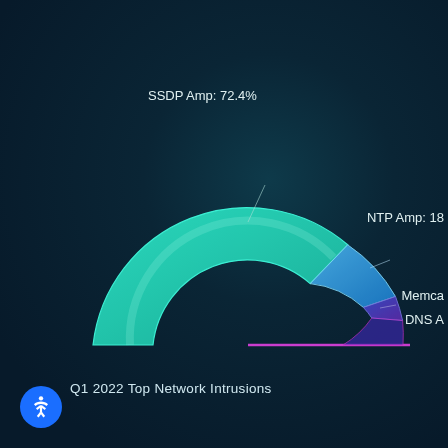[Figure (donut-chart): Q1 2022 Top Network Intrusions]
Q1 2022 Top Network Intrusions